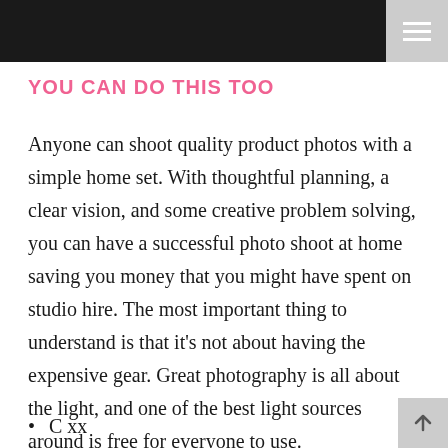YOU CAN DO THIS TOO
Anyone can shoot quality product photos with a simple home set. With thoughtful planning, a clear vision, and some creative problem solving, you can have a successful photo shoot at home saving you money that you might have spent on studio hire. The most important thing to understand is that it’s not about having the expensive gear. Great photography is all about the light, and one of the best light sources around is free for everyone to use.
C xx